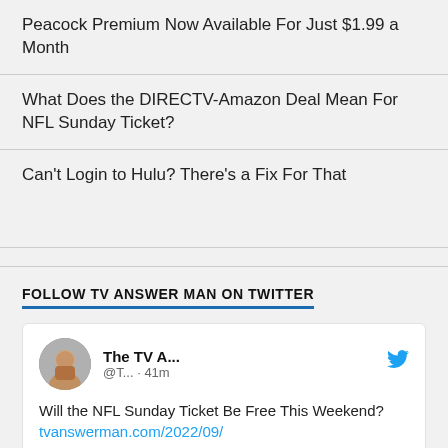Peacock Premium Now Available For Just $1.99 a Month
What Does the DIRECTV-Amazon Deal Mean For NFL Sunday Ticket?
Can't Login to Hulu? There's a Fix For That
FOLLOW TV ANSWER MAN ON TWITTER
[Figure (screenshot): Embedded tweet card from The TV Answer Man (@T...) posted 41 minutes ago. Tweet text: 'Will the NFL Sunday Ticket Be Free This Weekend? tvanswerman.com/2022/09/05/wil… via @TVAnswerMan']